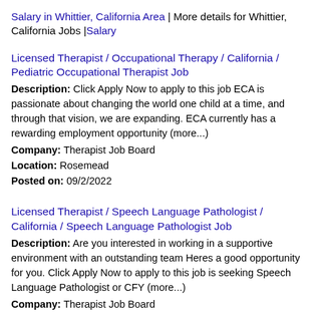Salary in Whittier, California Area | More details for Whittier, California Jobs |Salary
Licensed Therapist / Occupational Therapy / California / Pediatric Occupational Therapist Job
Description: Click Apply Now to apply to this job ECA is passionate about changing the world one child at a time, and through that vision, we are expanding. ECA currently has a rewarding employment opportunity (more...)
Company: Therapist Job Board
Location: Rosemead
Posted on: 09/2/2022
Licensed Therapist / Speech Language Pathologist / California / Speech Language Pathologist Job
Description: Are you interested in working in a supportive environment with an outstanding team Heres a good opportunity for you. Click Apply Now to apply to this job is seeking Speech Language Pathologist or CFY (more...)
Company: Therapist Job Board
Location: Yucaipa
Posted on: 09/2/2022